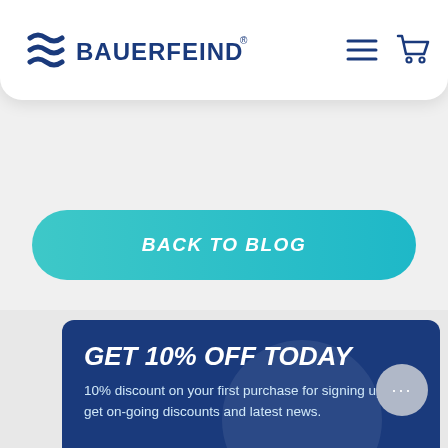[Figure (screenshot): Bauerfeind website navigation bar with logo, hamburger menu icon, and shopping cart icon on white rounded card background]
[Figure (screenshot): Teal rounded button with white italic bold text reading BACK TO BLOG]
[Figure (screenshot): Dark blue promotional card with text GET 10% OFF TODAY and subtext about 10% discount on first purchase for signing up plus on-going discounts and latest news. Gray chat button with ellipsis in bottom right.]